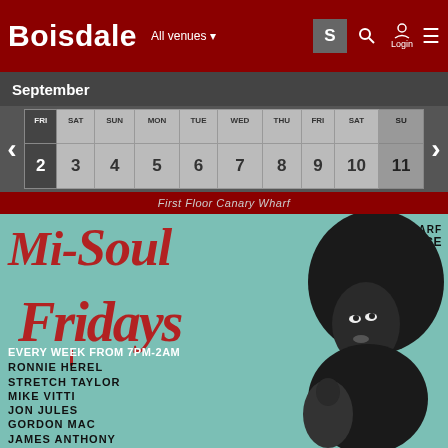BOISDALE | All venues | Login
September
| FRI | SAT | SUN | MON | TUE | WED | THU | FRI | SAT | SUN |
| --- | --- | --- | --- | --- | --- | --- | --- | --- | --- |
| 2 | 3 | 4 | 5 | 6 | 7 | 8 | 9 | 10 | 11 |
First Floor Canary Wharf
[Figure (photo): Mi-Soul Fridays event poster featuring large stylized red text 'Mi-Soul Fridays' on teal background with black and white photo of woman with large afro. Text: CANARY WHARF GARDEN TERRACE, EVERY WEEK FROM 7PM-2AM, RONNIE HEREL, STRETCH TAYLOR, MIKE VITTI, JON JULES, GORDON MAC, JAMES ANTHONY]